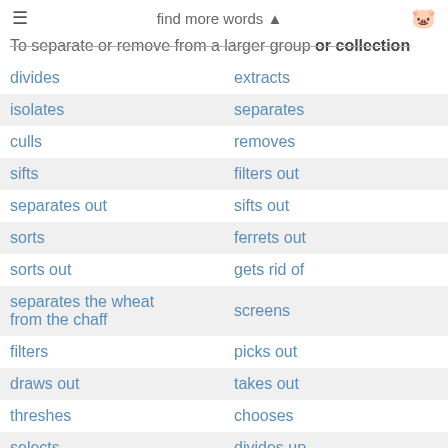≡  find more words ▲  🐷
To separate or remove from a larger group or collection
| Word 1 | Word 2 |
| --- | --- |
| divides | extracts |
| isolates | separates |
| culls | removes |
| sifts | filters out |
| separates out | sifts out |
| sorts | ferrets out |
| sorts out | gets rid of |
| separates the wheat from the chaff | screens |
| filters | picks out |
| draws out | takes out |
| threshes | chooses |
| selects | divides up |